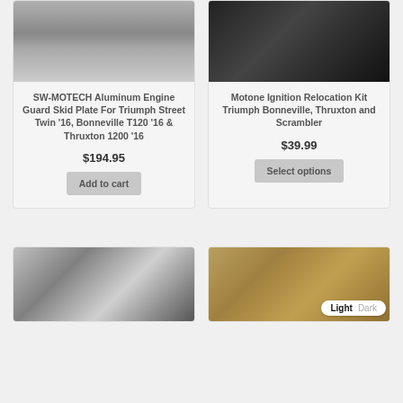[Figure (photo): SW-MOTECH aluminum engine guard skid plate installed under a motorcycle, visible legs/stands on pavement]
SW-MOTECH Aluminum Engine Guard Skid Plate For Triumph Street Twin '16, Bonneville T120 '16 & Thruxton 1200 '16
$194.95
Add to cart
[Figure (photo): Motone Ignition Relocation Kit close-up black and white photo of motorcycle ignition hardware]
Motone Ignition Relocation Kit Triumph Bonneville, Thruxton and Scrambler
$39.99
Select options
[Figure (photo): Chrome and black motorcycle part, partial view at bottom of page]
[Figure (photo): Gold/brass motorcycle chain, partial view at bottom of page]